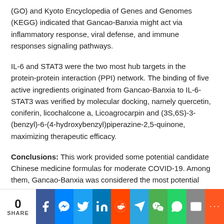(GO) and Kyoto Encyclopedia of Genes and Genomes (KEGG) indicated that Gancao-Banxia might act via inflammatory response, viral defense, and immune responses signaling pathways.
IL-6 and STAT3 were the two most hub targets in the protein-protein interaction (PPI) network. The binding of five active ingredients originated from Gancao-Banxia to IL-6-STAT3 was verified by molecular docking, namely quercetin, coniferin, licochalcone a, Licoagrocarpin and (3S,6S)-3-(benzyl)-6-(4-hydroxybenzyl)piperazine-2,5-quinone, maximizing therapeutic efficacy.
Conclusions: This work provided some potential candidate Chinese medicine formulas for moderate COVID-19. Among them, Gancao-Banxia was considered the most potential herbal pair. Bioinformatic data demonstrated that Gancao-Banxia pair may achieve dual inhibition of IL-6-STAT3 via directly interacting with IL-6 and STAT3, suppressing the IL-6 amplifier. SARS-CoV-2 models will be needed to validate this possibility in the future.